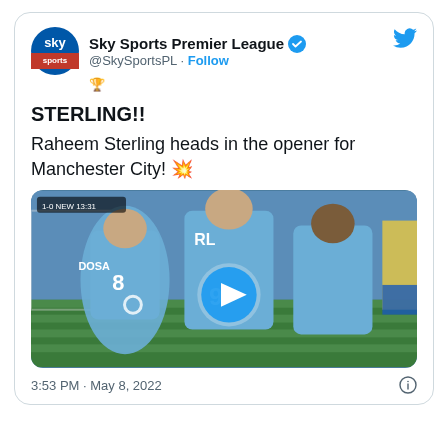[Figure (screenshot): Tweet card from Sky Sports Premier League (@SkySportsPL) showing a goal celebration video thumbnail with play button. Tweet text: STERLING!! Raheem Sterling heads in the opener for Manchester City! 💥 Posted at 3:53 PM · May 8, 2022]
Sky Sports Premier League @SkySportsPL · Follow
STERLING!!
Raheem Sterling heads in the opener for Manchester City! 💥
3:53 PM · May 8, 2022